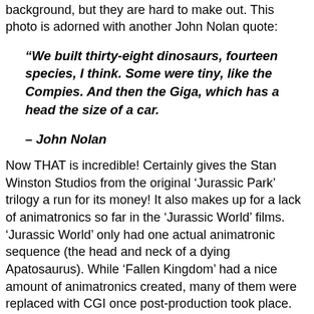background, but they are hard to make out. This photo is adorned with another John Nolan quote:
“We built thirty-eight dinosaurs, fourteen species, I think. Some were tiny, like the Compies. And then the Giga, which has a head the size of a car.
– John Nolan
Now THAT is incredible! Certainly gives the Stan Winston Studios from the original ‘Jurassic Park’ trilogy a run for its money! It also makes up for a lack of animatronics so far in the ‘Jurassic World’ films. ‘Jurassic World’ only had one actual animatronic sequence (the head and neck of a dying Apatosaurus). While ‘Fallen Kingdom’ had a nice amount of animatronics created, many of them were replaced with CGI once post-production took place. Will these fantastic beasts of ‘Dominion’ end up the same way? Or will we know exactly where to find them?